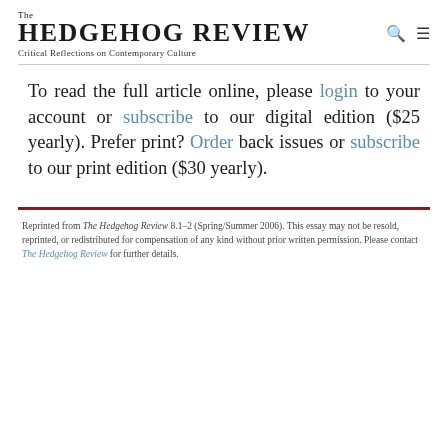The HEDGEHOG REVIEW
Critical Reflections on Contemporary Culture
To read the full article online, please login to your account or subscribe to our digital edition ($25 yearly). Prefer print? Order back issues or subscribe to our print edition ($30 yearly).
Reprinted from The Hedgehog Review 8.1–2 (Spring/Summer 2006). This essay may not be resold, reprinted, or redistributed for compensation of any kind without prior written permission. Please contact The Hedgehog Review for further details.